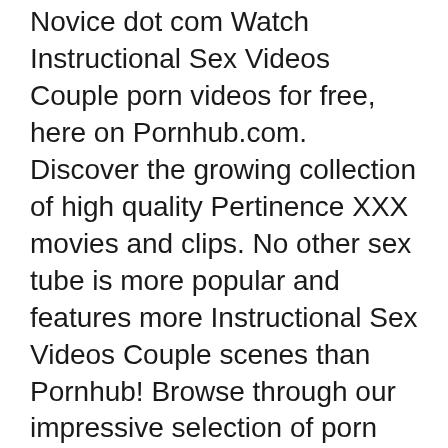Novice dot com Watch Instructional Sex Videos Couple porn videos for free, here on Pornhub.com. Discover the growing collection of high quality Pertinence XXX movies and clips. No other sex tube is more popular and features more Instructional Sex Videos Couple scenes than Pornhub! Browse through our impressive selection of porn videos in HD quality on any device you own.
Shop online for sex positions DVDs and add spark to your love life. We offer couples instructional sex videos and sex education practical videos. Order Now! Watch Instructional Sex Video For Couple porn videos for free, here on Pornhub.com. Discover the growing